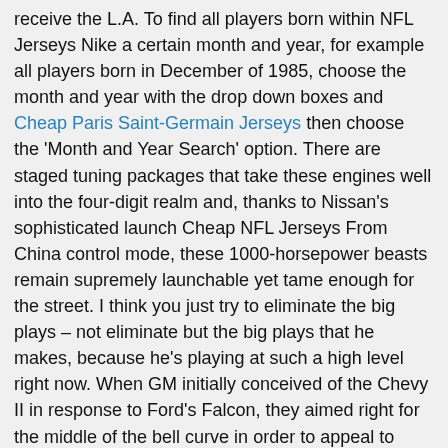receive the L.A. To find all players born within NFL Jerseys Nike a certain month and year, for example all players born in December of 1985, choose the month and year with the drop down boxes and Cheap Paris Saint-Germain Jerseys then choose the 'Month and Year Search' option. There are staged tuning packages that take these engines well into the four-digit realm and, thanks to Nissan's sophisticated launch Cheap NFL Jerseys From China control mode, these 1000-horsepower beasts remain supremely launchable yet tame enough for the street. I think you just try to eliminate the big plays – not eliminate but the big plays that he makes, because he's playing at such a high level right now. When GM initially conceived of the Chevy II in response to Ford's Falcon, they aimed right for the middle of the bell curve in order to appeal to Baseball Jerseys Cheap as many buyers as possible. The defining cute trait for Taurus is that they take great pleasure from pampering and treating their loved ones. The 2019 Combine marks the 30th anniversary of the Jerry Jones' first Combine after buying the team in February of 1989. Did you notice that, with these younger players running so many zone reads? We drained the pan to find if there was Wholesale Jerseys Cheap any oil in the engine. I expect him to play well. I just want to keep rolling and try to make more plays. Mark Ivey has Baseball Jerseys Cheap been named the interim head coach. We're thankful for that when we're kicking field goals. Hoo boy, my friends; clearly none of them are Formula E viewers. Wholesale NFL Jerseys Supply where we routinely